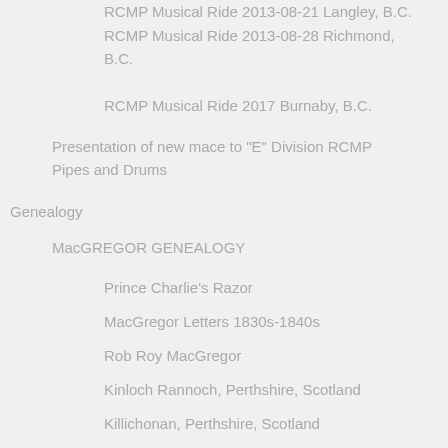RCMP Musical Ride 2013-08-28 Richmond, B.C.
RCMP Musical Ride 2017 Burnaby, B.C.
Presentation of new mace to "E" Division RCMP Pipes and Drums
Genealogy
MacGREGOR GENEALOGY
Prince Charlie's Razor
MacGregor Letters 1830s-1840s
Rob Roy MacGregor
Kinloch Rannoch, Perthshire, Scotland
Killichonan, Perthshire, Scotland
Fortingall, Perthshire, Scotland
Culloden Battlefield, Scotland
STEVENS GENEALOGY